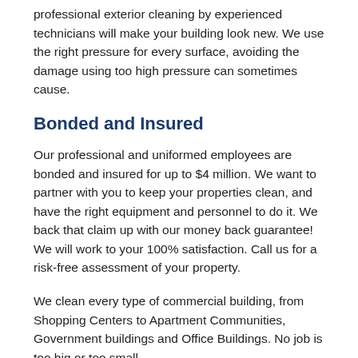professional exterior cleaning by experienced technicians will make your building look new. We use the right pressure for every surface, avoiding the damage using too high pressure can sometimes cause.
Bonded and Insured
Our professional and uniformed employees are bonded and insured for up to $4 million. We want to partner with you to keep your properties clean, and have the right equipment and personnel to do it. We back that claim up with our money back guarantee! We will work to your 100% satisfaction. Call us for a risk-free assessment of your property.
We clean every type of commercial building, from Shopping Centers to Apartment Communities, Government buildings and Office Buildings. No job is too big or too small.
Pressure Washing Services we Provide